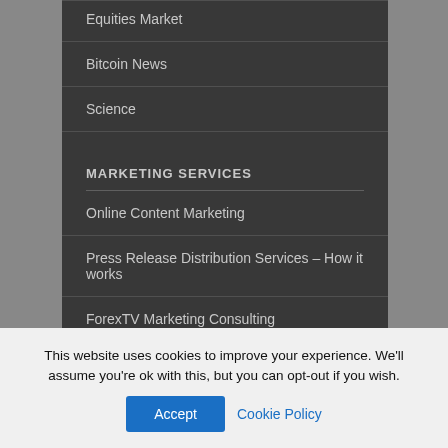Equities Market
Bitcoin News
Science
MARKETING SERVICES
Online Content Marketing
Press Release Distribution Services – How it works
ForexTV Marketing Consulting
ForexTV Inbound Marketing Services
ForexTV Email Marketing
ForexTV Content Release Distribution Services
This website uses cookies to improve your experience. We'll assume you're ok with this, but you can opt-out if you wish.
Accept | Cookie Policy